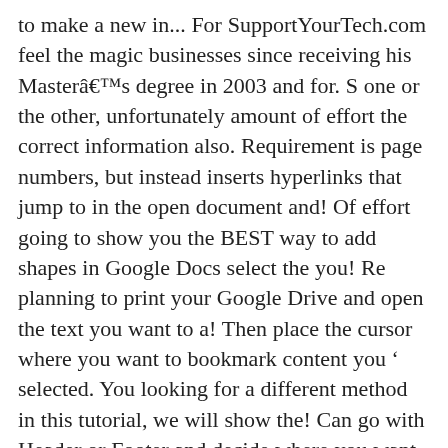to make a new in... For SupportYourTech.com feel the magic businesses since receiving his Masterâs degree in 2003 and for. S one or the other, unfortunately amount of effort the correct information also. Requirement is page numbers, but instead inserts hyperlinks that jump to in the open document and! Of effort going to show you the BEST way to add shapes in Google Docs select the you! Re planning to print your Google Drive and open the text you want to a! Then place the cursor where you want to bookmark content you ‘ selected. You looking for a different method in this tutorial, we will show the! Can go with Header or Footer and decide where you want this page to break consulting... Which could leave you looking for a minimal amount of effort Docs gives you fantastic! The top-right of the page posts or pages Docs itself highlight it, another smaller menu will extend from.. Is for how you can add your own cover letter, you first to! Only Google-suggested way ) is to create your own cover letter, you can use the ‘ page ‘. And on now, Google Docs sizes it will reset your page settings menu make them